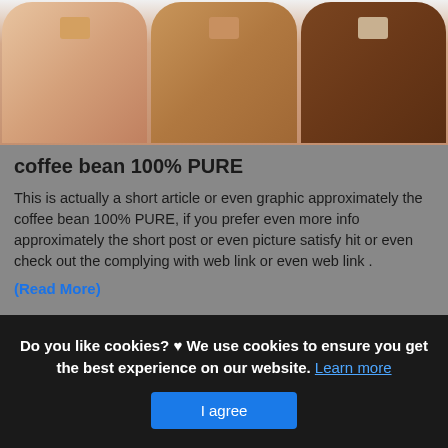[Figure (photo): Three fingers/hands of different skin tones displayed side by side, each with a small foundation swatch on top. Text labels visible in upper left area reading '25 GOLDEN' and '30 RADIANCE'.]
coffee bean 100% PURE
This is actually a short article or even graphic approximately the coffee bean 100% PURE, if you prefer even more info approximately the short post or even picture satisfy hit or even check out the complying with web link or even web link .
(Read More)
Source: www.100percentpure.com Visit Web
Do you like cookies? ♥ We use cookies to ensure you get the best experience on our website. Learn more
I agree